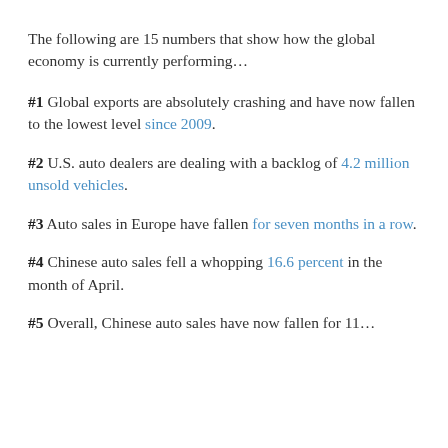The following are 15 numbers that show how the global economy is currently performing…
#1 Global exports are absolutely crashing and have now fallen to the lowest level since 2009.
#2 U.S. auto dealers are dealing with a backlog of 4.2 million unsold vehicles.
#3 Auto sales in Europe have fallen for seven months in a row.
#4 Chinese auto sales fell a whopping 16.6 percent in the month of April.
#5 Overall, Chinese auto sales have now fallen for 11...